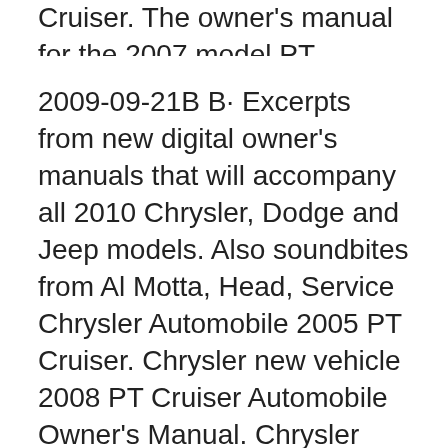Cruiser. The owner's manual for the 2007 model PT Cruiser [922929] - Pt Cruiser 2010 Owners Manual chrysler pt cruiser 2001 2010 haynes repair manual haynes on amazoncom free shipping on qualifying offers with a haynes
2009-09-21B B· Excerpts from new digital owner's manuals that will accompany all 2010 Chrysler, Dodge and Jeep models. Also soundbites from Al Motta, Head, Service Chrysler Automobile 2005 PT Cruiser. Chrysler new vehicle 2008 PT Cruiser Automobile Owner's Manual. Chrysler Automobile 2010. Chrysler Automobile User Manual.